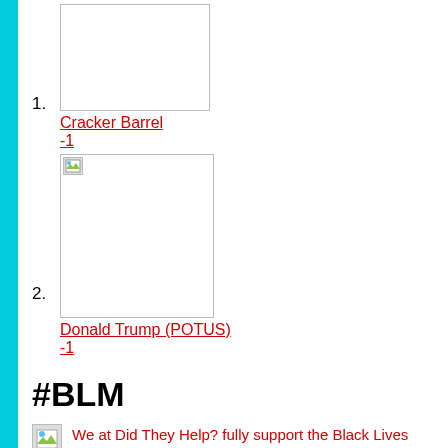[Figure (photo): Placeholder image box (white rectangle with border), item 1]
Cracker Barrel
-1
[Figure (photo): Broken image placeholder with small icon, item 2]
Donald Trump (POTUS)
-1
#BLM
[Figure (photo): Small broken image icon]
We at Did They Help? fully support the Black Lives Matter family in the fight for equality. We stand with them and with all